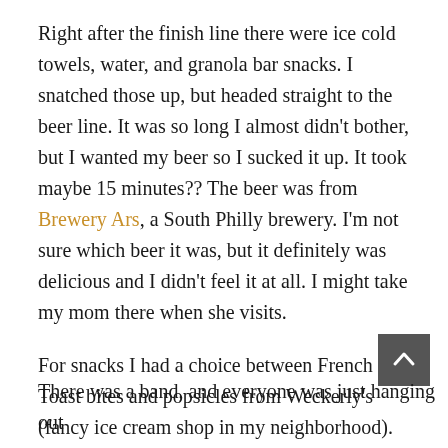Right after the finish line there were ice cold towels, water, and granola bar snacks. I snatched those up, but headed straight to the beer line. It was so long I almost didn't bother, but I wanted my beer so I sucked it up. It took maybe 15 minutes?? The beer was from Brewery Ars, a South Philly brewery. I'm not sure which beer it was, but it definitely was delicious and I didn't feel it at all. I might take my mom there when she visits.
For snacks I had a choice between French Toast bites and popsicles from Weckerly's (fancy ice cream shop in my neighborhood). The line for the bites was too long, so I happily got a mango popsicle, and dunked it in my beer.
There was a band, and everyone was just hanging out